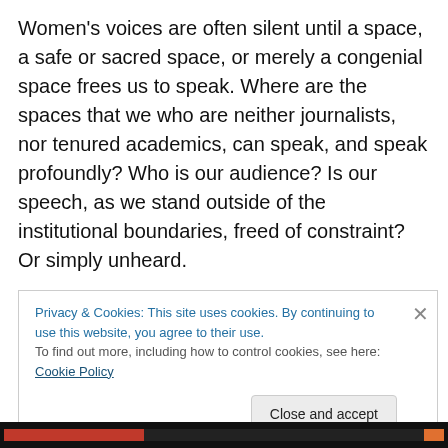Women's voices are often silent until a space, a safe or sacred space, or merely a congenial space frees us to speak. Where are the spaces that we who are neither journalists, nor tenured academics, can speak, and speak profoundly? Who is our audience? Is our speech, as we stand outside of the institutional boundaries, freed of constraint? Or simply unheard.
I spent many years in graduate school: in coursework, at conferences, and writing papers and a dissertation, finally earning a PhD. Preparing for a future, perhaps a career,
Privacy & Cookies: This site uses cookies. By continuing to use this website, you agree to their use.
To find out more, including how to control cookies, see here: Cookie Policy
Close and accept